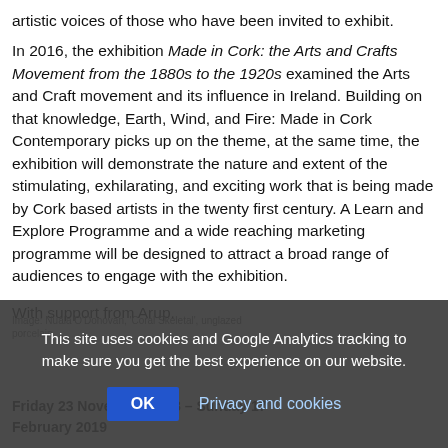artistic voices of those who have been invited to exhibit.
In 2016, the exhibition Made in Cork: the Arts and Crafts Movement from the 1880s to the 1920s examined the Arts and Craft movement and its influence in Ireland. Building on that knowledge, Earth, Wind, and Fire: Made in Cork Contemporary picks up on the theme, at the same time, the exhibition will demonstrate the nature and extent of the stimulating, exhilarating, and exciting work that is being made by Cork based artists in the twenty first century. A Learn and Explore Programme and a wide reaching marketing programme will be designed to attract a broad range of audiences to engage with the exhibition.
With support from Arup.
Image: Nuala O'Donovan, 'Coral Skeletal', unglazed porcelain, ...
Friday 23 November 2018 – Sunday 17 February 2019